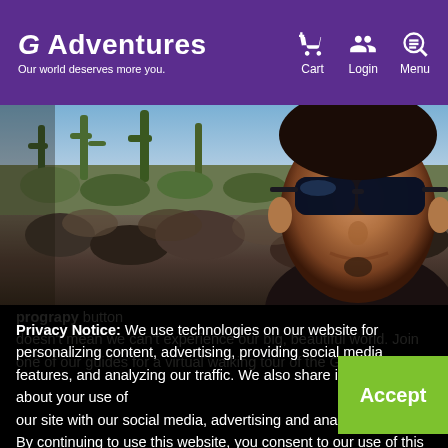G Adventures — Our world deserves more you. | Cart | Login | Menu
[Figure (photo): A man wearing dark sunglasses smiling at the camera, with a rocky landscape and cacti in the background (Galápagos Islands setting).]
Privacy Notice: We use technologies on our website for personalizing content, advertising, providing social media features, and analyzing our traffic. We also share information about your use of our site with our social media, advertising and analytics partners. By continuing to use this website, you consent to our use of this technology. You can control this through your Privacy Options.